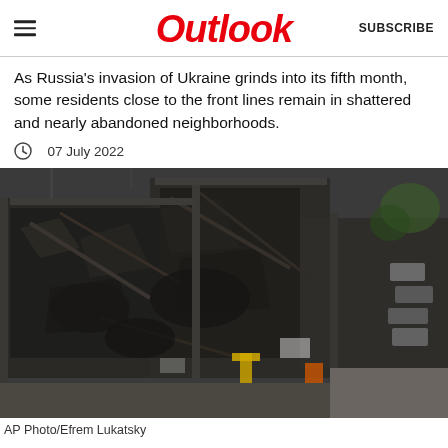Outlook  SUBSCRIBE
As Russia's invasion of Ukraine grinds into its fifth month, some residents close to the front lines remain in shattered and nearly abandoned neighborhoods.
07 July 2022
[Figure (photo): Aerial/drone view of a heavily damaged and burned building, showing destroyed roof structure with charred debris, viewed from above. Emergency vehicles visible in background.]
AP Photo/Efrem Lukatsky